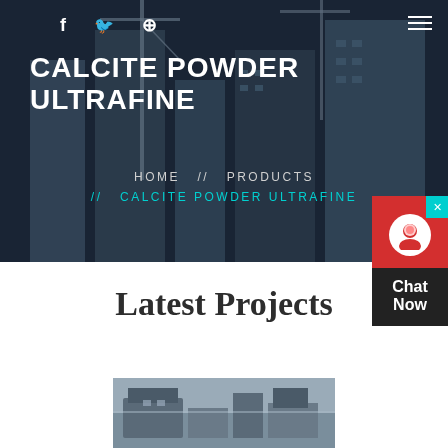[Figure (photo): Hero banner with construction site background showing cranes and buildings under dark blue overlay]
CALCITE POWDER ULTRAFINE
HOME  //  PRODUCTS  //  CALCITE POWDER ULTRAFINE
Latest Projects
[Figure (photo): Industrial machinery / construction equipment photo at bottom of page]